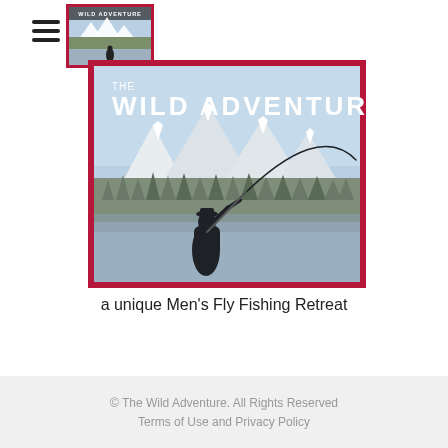[Figure (logo): The Wild Adventure logo thumbnail — small square with red border, mountain/tree scene with fishing figure, text 'WILD ADVENTURE' at top]
[Figure (illustration): The Wild Adventure main banner illustration — red border frame, light blue sky background, white snow-capped mountains, grey-green pine forest tree line, grey foreground/water, silhouette of fly fisherman casting a long arcing fly line. Text at top: 'THE WILD ADVENTURE']
a unique Men's Fly Fishing Retreat
© The Wild Adventure. All Rights Reserved
Terms of Use and Privacy Policy